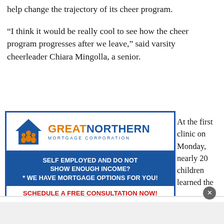help change the trajectory of its cheer program.
“I think it would be really cool to see how the cheer program progresses after we leave,” said varsity cheerleader Chiara Mingolla, a senior.
[Figure (advertisement): Great Northern Mortgage Corporation advertisement. Self employed and do not show enough income? We have mortgage options for you! Schedule a free consultation now! Call Igor Noble 516-888-1111]
At the first clinic on Monday, nearly 20 children learned the